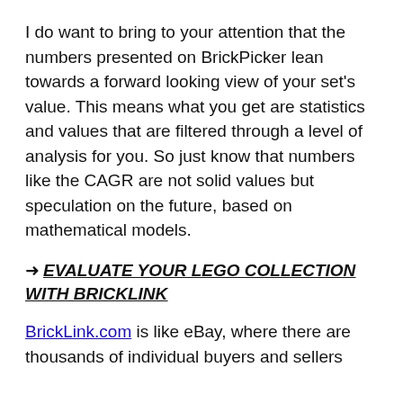I do want to bring to your attention that the numbers presented on BrickPicker lean towards a forward looking view of your set's value. This means what you get are statistics and values that are filtered through a level of analysis for you. So just know that numbers like the CAGR are not solid values but speculation on the future, based on mathematical models.
→ EVALUATE YOUR LEGO COLLECTION WITH BRICKLINK
BrickLink.com is like eBay, where there are thousands of individual buyers and sellers